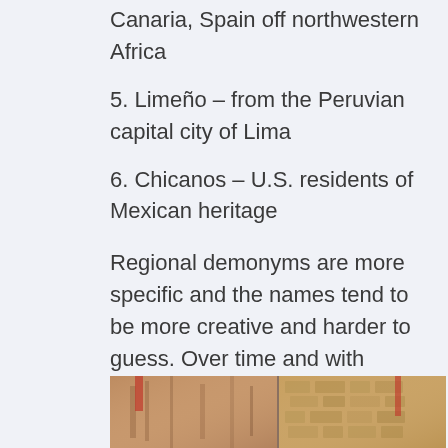Canaria, Spain off northwestern Africa
5. Limeño – from the Peruvian capital city of Lima
6. Chicanos – U.S. residents of Mexican heritage
Regional demonyms are more specific and the names tend to be more creative and harder to guess. Over time and with repeated exposure, you can memorize these by ear.
[Figure (photo): Two photos side by side showing colorful street scenes, likely from a Spanish-speaking country]